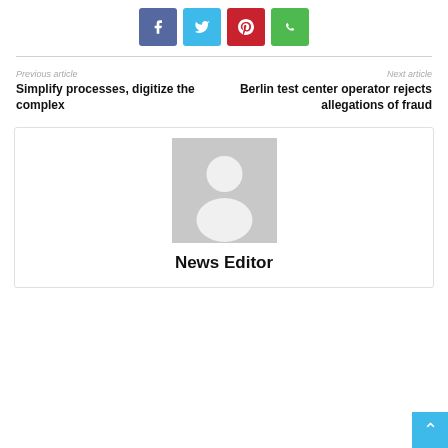[Figure (other): Social share buttons: Facebook (blue), Twitter (cyan), Pinterest (red), WhatsApp (green)]
Previous article
Simplify processes, digitize the complex
Next article
Berlin test center operator rejects allegations of fraud
[Figure (illustration): Generic author avatar placeholder (grey silhouette on grey background)]
News Editor